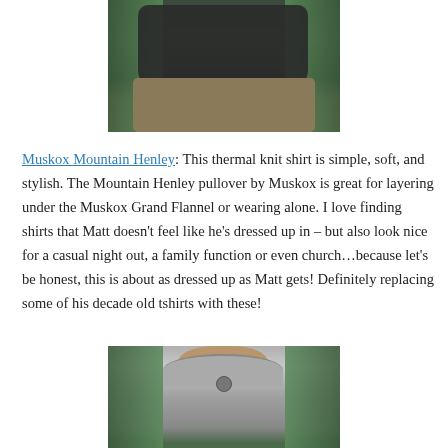[Figure (photo): Photo of a person wearing a dark charcoal thermal shirt tucked over khaki/tan pants, standing in front of green foliage background. Only the torso and lower body visible.]
Muskox Mountain Henley: This thermal knit shirt is simple, soft, and stylish. The Mountain Henley pullover by Muskox is great for layering under the Muskox Grand Flannel or wearing alone. I love finding shirts that Matt doesn't feel like he's dressed up in – but also look nice for a casual night out, a family function or even church…because let's be honest, this is about as dressed up as Matt gets! Definitely replacing some of his decade old tshirts with these!
[Figure (photo): Photo of a bearded man wearing a gray Muskox Mountain Henley pullover with henley collar buttons, outdoors with green foliage in background. Upper torso and face visible.]